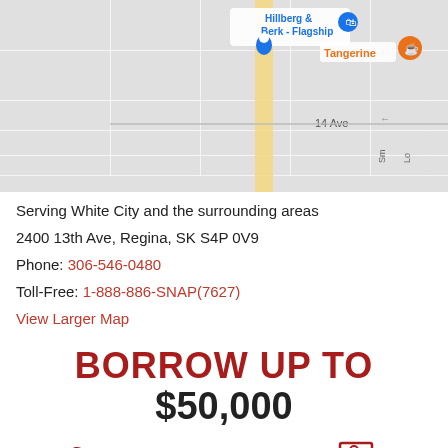[Figure (map): Google Maps screenshot showing street map with Hillberg & Berk - Flagship store marker in blue, Tangerine location in orange, and 14 Ave label visible]
Serving White City and the surrounding areas
2400 13th Ave, Regina, SK S4P 0V9
Phone: 306-546-0480
Toll-Free: 1-888-886-SNAP(7627)
View Larger Map
BORROW UP TO
$50,000
[Figure (infographic): Three icons at bottom: phone handset icon (red), email envelope icon (red), apply/document icon (red outline)]
PHONE
EMAIL
APPLY